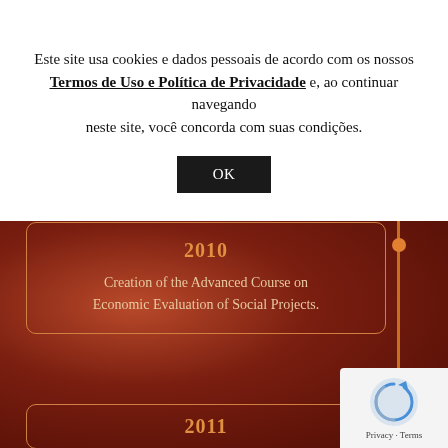Este site usa cookies e dados pessoais de acordo com os nossos Termos de Uso e Política de Privacidade e, ao continuar navegando neste site, você concorda com suas condições.
OK
[Figure (infographic): Timeline section with dark red blurred background showing year 2010 card: 'Creation of the Advanced Course on Economic Evaluation of Social Projects.' with orange vertical timeline line and dot on the right side, and partial 2011 card at bottom.]